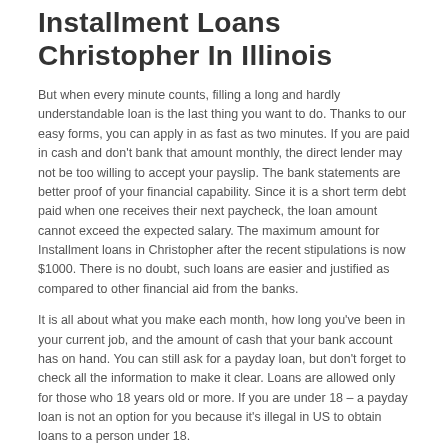Installment Loans Christopher In Illinois
But when every minute counts, filling a long and hardly understandable loan is the last thing you want to do. Thanks to our easy forms, you can apply in as fast as two minutes. If you are paid in cash and don't bank that amount monthly, the direct lender may not be too willing to accept your payslip. The bank statements are better proof of your financial capability. Since it is a short term debt paid when one receives their next paycheck, the loan amount cannot exceed the expected salary. The maximum amount for Installment loans in Christopher after the recent stipulations is now $1000. There is no doubt, such loans are easier and justified as compared to other financial aid from the banks.
It is all about what you make each month, how long you've been in your current job, and the amount of cash that your bank account has on hand. You can still ask for a payday loan, but don't forget to check all the information to make it clear. Loans are allowed only for those who 18 years old or more. If you are under 18 – a payday loan is not an option for you because it's illegal in US to obtain loans to a person under 18.